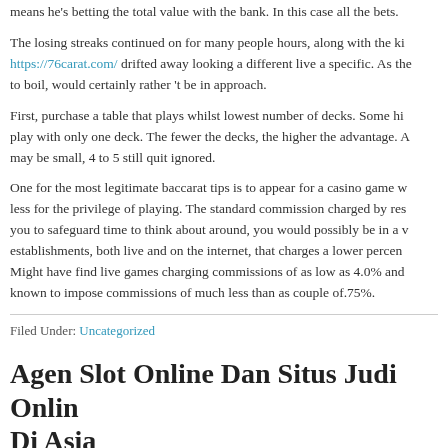means he's betting the total value with the bank. In this case all the bets.
The losing streaks continued on for many people hours, along with the ki... https://76carat.com/ drifted away looking a different live a specific. As the... to boil, would certainly rather ‘t be in approach.
First, purchase a table that plays whilst lowest number of decks. Some hi... play with only one deck. The fewer the decks, the higher the advantage. A... may be small, 4 to 5 still quit ignored.
One for the most legitimate baccarat tips is to appear for a casino game w... less for the privilege of playing. The standard commission charged by res... you to safeguard time to think about around, you would possibly be in a v... establishments, both live and on the internet, that charges a lower percen... Might have find live games charging commissions of as low as 4.0% and... known to impose commissions of much less than as couple of.75%.
Filed Under: Uncategorized
Agen Slot Online Dan Situs Judi Online Di Asia
February 18, 2022 by admin